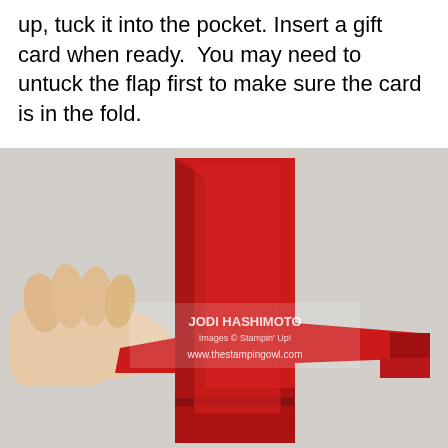up, tuck it into the pocket. Insert a gift card when ready.  You may need to untuck the flap first to make sure the card is in the fold.
[Figure (photo): A hand holding a red paper gift card holder showing origami-style folds and a tucked flap, with watermark 'JODI HASHIMOTO / Images © Stampin' Up! / www.thestampingowl.com']